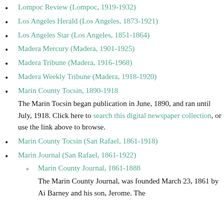Lompoc Review (Lompoc, 1919-1932)
Los Angeles Herald (Los Angeles, 1873-1921)
Los Angeles Star (Los Angeles, 1851-1864)
Madera Mercury (Madera, 1901-1925)
Madera Tribune (Madera, 1916-1968)
Madera Weekly Tribune (Madera, 1918-1920)
Marin County Tocsin, 1890-1918
The Marin Tocsin began publication in June, 1890, and ran until July, 1918. Click here to search this digital newspaper collection, or use the link above to browse.
Marin County Tocsin (San Rafael, 1861-1918)
Marin Journal (San Rafael, 1861-1922)
Marin County Journal, 1861-1888
The Marin County Journal, was founded March 23, 1861 by Ai Barney and his son, Jerome. The